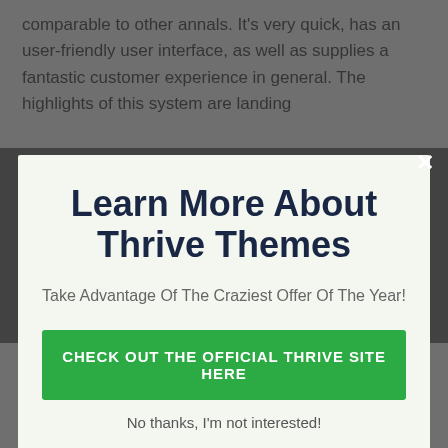comparable to other annals. It's very quick, has an user-friendly user interface, as well as supplies a fantastic customer experience in general. The highlights of this system are landing
[Figure (screenshot): Modal popup dialog with light green background containing title 'Learn More About Thrive Themes', subtitle 'Take Advantage Of The Craziest Offer Of The Year!', a green CTA button 'CHECK OUT THE OFFICIAL THRIVE SITE HERE', and a dismiss link 'No thanks, I'm not interested!']
Themes Subscription, for the whole collection of devices prices only $19/month.